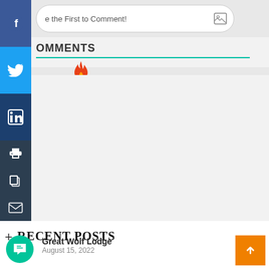[Figure (screenshot): Social media share sidebar with Facebook, Twitter, LinkedIn, Print, Copy, and Email icons on the left side of the page]
e the First to Comment!
COMMENTS
[Figure (infographic): Fire/flame icon in orange-red color indicating hot content]
RECENT POSTS
Great Wolf Lodge
August 15, 2022